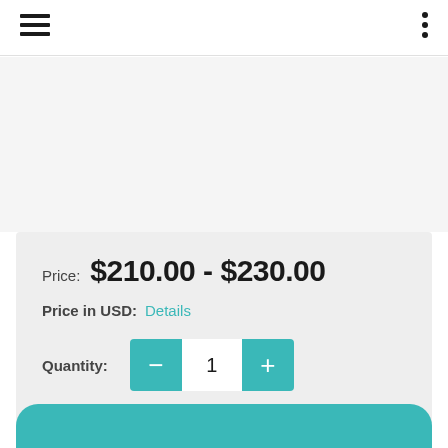Navigation menu and options menu icons
[Figure (other): Product image area (blank/light grey placeholder)]
Price: $210.00 - $230.00
Price in USD: Details
Quantity: — 1 +